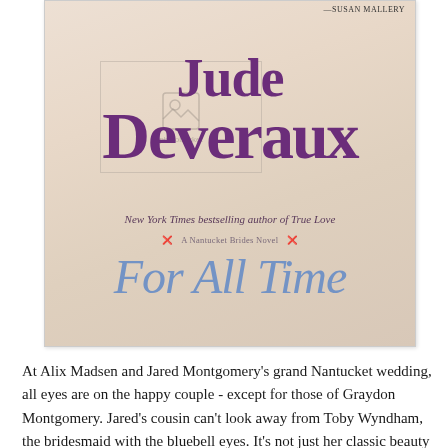[Figure (illustration): Book cover of 'For All Time' by Jude Deveraux. Purple author name 'Jude Deveraux' in large bold serif type at top, subtitle 'New York Times bestselling author of True Love' in italic below, 'A Nantucket Brides Novel' series label, and 'For All Time' in large blue cursive script at bottom. Background is a soft cream/ivory fabric texture suggesting a wedding dress.]
At Alix Madsen and Jared Montgomery's grand Nantucket wedding, all eyes are on the happy couple - except for those of Graydon Montgomery. Jared's cousin can't look away from Toby Wyndham, the bridesmaid with the bluebell eyes. It's not just her classic beauty that enthrals him or the way she's